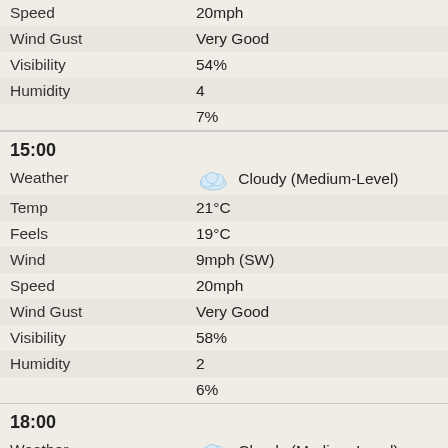| Field | Value |
| --- | --- |
| Speed | 20mph |
| Wind Gust | Very Good |
| Visibility | 54% |
| Humidity | 4 |
|  | 7% |
15:00
| Field | Value |
| --- | --- |
| Weather | Cloudy (Medium-Level) |
| Temp | 21°C |
| Feels | 19°C |
| Wind | 9mph (SW) |
| Speed | 20mph |
| Wind Gust | Very Good |
| Visibility | 58% |
| Humidity | 2 |
|  | 6% |
18:00
| Field | Value |
| --- | --- |
| Weather | Cloudy (Medium-Level) |
| Temp | 19°C |
| Feels | 18°C |
| Wind | 9mph (SW) |
| Speed | 16mph |
| Wind Gust | Very Good |
| Visibility | 67% |
| Humidity | 1 |
|  | 7% |